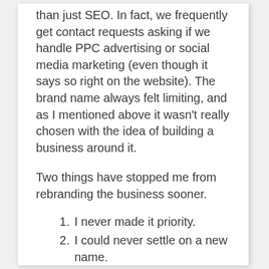than just SEO. In fact, we frequently get contact requests asking if we handle PPC advertising or social media marketing (even though it says so right on the website). The brand name always felt limiting, and as I mentioned above it wasn't really chosen with the idea of building a business around it.
Two things have stopped me from rebranding the business sooner.
I never made it priority.
I could never settle on a new name.
Perhaps I should have made it a priority sooner, but there was alway other work to